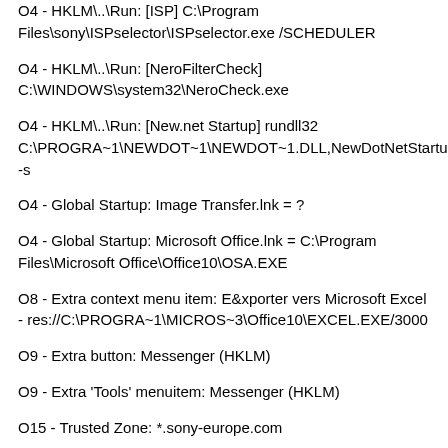O4 - HKLM\.\Run: [ISP] C:\Program Files\sony\ISPselector\ISPselector.exe /SCHEDULER
O4 - HKLM\.\Run: [NeroFilterCheck] C:\WINDOWS\system32\NeroCheck.exe
O4 - HKLM\.\Run: [New.net Startup] rundll32 C:\PROGRA~1\NEWDOT~1\NEWDOT~1.DLL,NewDotNetStartup -s
O4 - Global Startup: Image Transfer.lnk = ?
O4 - Global Startup: Microsoft Office.lnk = C:\Program Files\Microsoft Office\Office10\OSA.EXE
O8 - Extra context menu item: E&xporter vers Microsoft Excel - res://C:\PROGRA~1\MICROS~3\Office10\EXCEL.EXE/3000
O9 - Extra button: Messenger (HKLM)
O9 - Extra 'Tools' menuitem: Messenger (HKLM)
O15 - Trusted Zone: *.sony-europe.com
O15 - Trusted Zone: *.sonystyle-europe.com
O15 - Trusted Zone: *.vaio-link.com